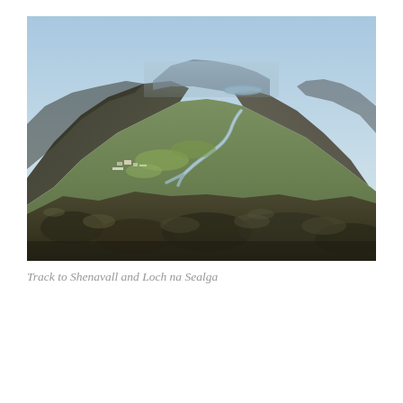[Figure (photo): Landscape photograph showing a wide valley with mountains on both sides. A winding river runs through the green valley floor. The sky is light blue with haze. The foreground shows moorland with dark heather and scrub vegetation. In the distance, a loch is visible between the mountains.]
Track to Shenavall and Loch na Sealga